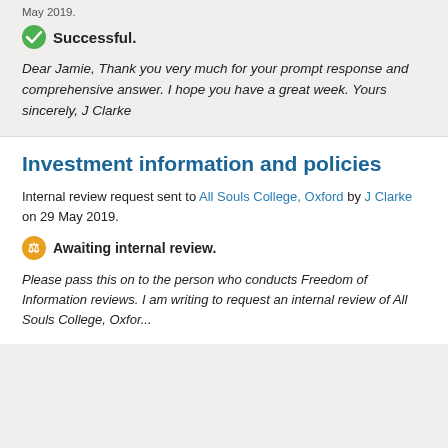May 2019.
Successful.
Dear Jamie, Thank you very much for your prompt response and comprehensive answer. I hope you have a great week. Yours sincerely, J Clarke
Investment information and policies
Internal review request sent to All Souls College, Oxford by J Clarke on 29 May 2019.
Awaiting internal review.
Please pass this on to the person who conducts Freedom of Information reviews. I am writing to request an internal review of All Souls College, Oxfor...